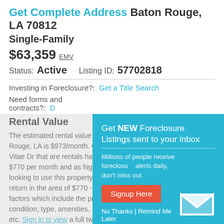Get Complete Address Baton Rouge, LA 70812
Single-Family
$63,359 EMV
Status: Active   Listing ID: 57702818
Investing in Foreclosure?: Get a Title Search
Need forms and contracts?: D...
Rental Value
The estimated rental value for Baton Rouge, LA is $973/month. Comparable properties on Vitae Dr that are rentals have rented for as low as $770 per month and as high as ... If you are looking to use this property as a rental you can expect return in the area of $770 - $... factors which include the properties condition, type, amenities, etc. Sign in to view a full two years of rental information as well as the Average Market Value (AVM) of this property.
[Figure (infographic): Popup overlay: Get NEW Foreclosure Listings sent to your inbox. Millions of people receive foreclosure alerts daily, don't miss out. Signup Here button. No Thanks | Remind Me Later links. Envelope icon.]